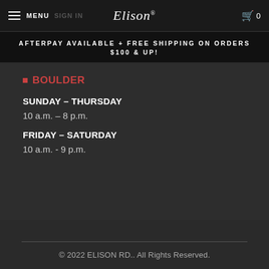MENU | Elison® | 0
AFTERPAY AVAILABLE + FREE SHIPPING ON ORDERS $100 & UP!
BOULDER
SUNDAY – THURSDAY
10 a.m. – 8 p.m.
FRIDAY – SATURDAY
10 a.m. - 9 p.m.
© 2022 ELISON RD.. All Rights Reserved.